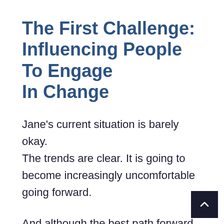The First Challenge: Influencing People To Engage In Change
Jane's current situation is barely okay. The trends are clear. It is going to become increasingly uncomfortable going forward.
And although the best path forward is not yet completely clear, one thing is: Jane believes that unless key leaders come together to create a shared